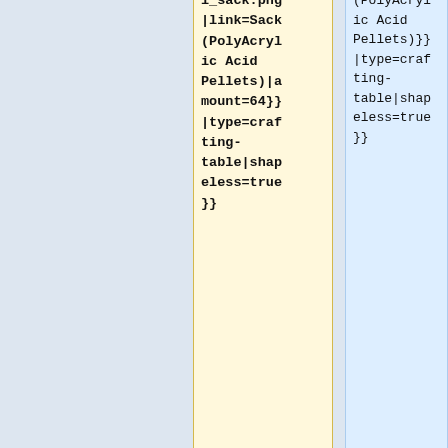l_sack.png|link=Sack(PolyAcrylic Acid Pellets)|amount=64}}|type=crafting-table|shapeless=true}}
(PolyAcrylic Acid Pellets)}}|type=crafting-table|shapeless=true}}
|-
|
* [[Image:Vessel_bag.png|link=Bag (PolyAcryl ic Acid